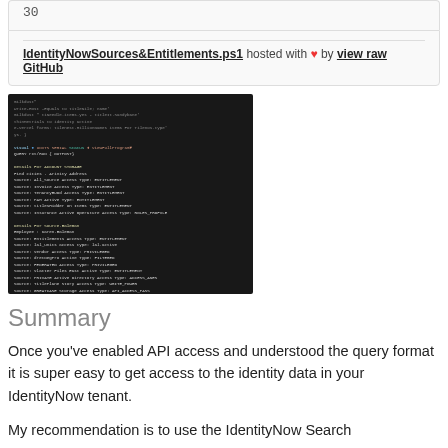30
IdentityNowSources&Entitlements.ps1 hosted with ❤ by view raw GitHub
[Figure (screenshot): Terminal/console screenshot showing PowerShell script output with dark background displaying identity and entitlement data from IdentityNow]
Summary
Once you've enabled API access and understood the query format it is super easy to get access to the identity data in your IdentityNow tenant.
My recommendation is to use the IdentityNow Search